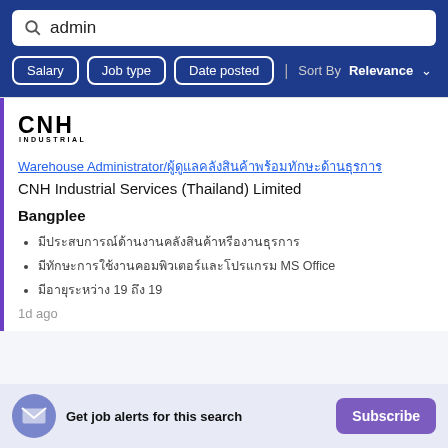admin
Salary | Job type | Date posted | Sort By Relevance
[Figure (logo): CNH Industrial company logo with bold CNH text and INDUSTRIAL subtitle]
Warehouse Administrator/ผู้ดูแลคลังสินค้า
CNH Industrial Services (Thailand) Limited
Bangplee
มีประสบการณ์ด้านงานคลังสินค้าหรืองานธุรการ
มีทักษะการใช้งานคอมพิวเตอร์และโปรแกรม MS Office
มีอายุระหว่าง 19 ถึง 19
1d ago
Get job alerts for this search
Subscribe